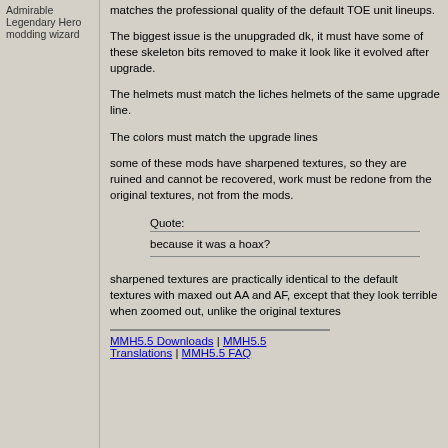Admirable
Legendary Hero
modding wizard
matches the professional quality of the default TOE unit lineups.
The biggest issue is the unupgraded dk, it must have some of these skeleton bits removed to make it look like it evolved after upgrade.
The helmets must match the liches helmets of the same upgrade line.
The colors must match the upgrade lines
some of these mods have sharpened textures, so they are ruined and cannot be recovered, work must be redone from the original textures, not from the mods.
Quote:
because it was a hoax?
sharpened textures are practically identical to the default textures with maxed out AA and AF, except that they look terrible when zoomed out, unlike the original textures
MMH5.5 Downloads | MMH5.5 Translations | MMH5.5 FAQ